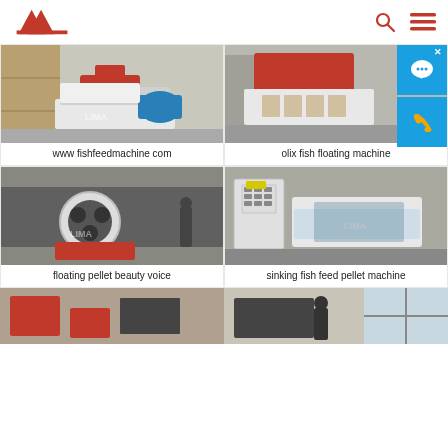LIMA logo with search and menu icons
[Figure (photo): Industrial fish feed machine with blue electric motor in a warehouse setting. Text watermark: www fishfeedmachine com]
www fishfeedmachine com
[Figure (photo): Red and white industrial olix fish floating machine in warehouse]
olix fish floating machine
[Figure (photo): Industrial floating pellet machine (beauty voice) in a factory workshop]
floating pellet beauty voice
[Figure (photo): Sinking fish feed pellet machine with control panel in factory]
sinking fish feed pellet machine
[Figure (photo): Partially visible red machine and packaged equipment at bottom left]
[Figure (photo): Worker near industrial machine near window at bottom right]